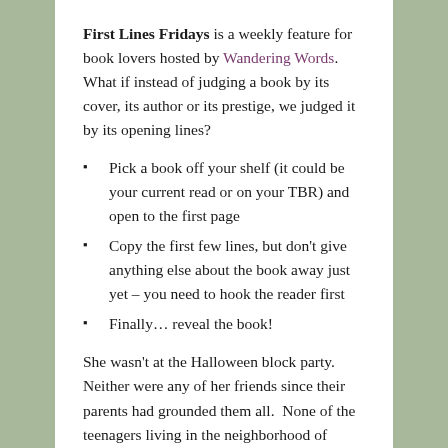First Lines Fridays is a weekly feature for book lovers hosted by Wandering Words. What if instead of judging a book by its cover, its author or its prestige, we judged it by its opening lines?
Pick a book off your shelf (it could be your current read or on your TBR) and open to the first page
Copy the first few lines, but don’t give anything else about the book away just yet – you need to hook the reader first
Finally… reveal the book!
She wasn’t at the Halloween block party.  Neither were any of her friends since their parents had grounded them all.  None of the teenagers living in the neighborhood of Shadow Hill were present when it happened, but they all heard screams in the night.  At first Jazmine thought, it was just the grown-ups partying, yelling, and maybe finally have too much to drink, maybe even fighting as